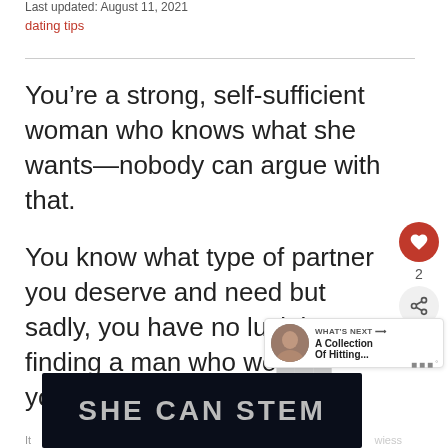Last updated: August 11, 2021
dating tips
You're a strong, self-sufficient woman who knows what she wants—nobody can argue with that.
You know what type of partner you deserve and need but sadly, you have no luck in finding a man who wo... you.
[Figure (screenshot): Dark banner image with bold white text reading 'SHE CAN STEM']
WHAT'S NEXT → A Collection Of Hitting...